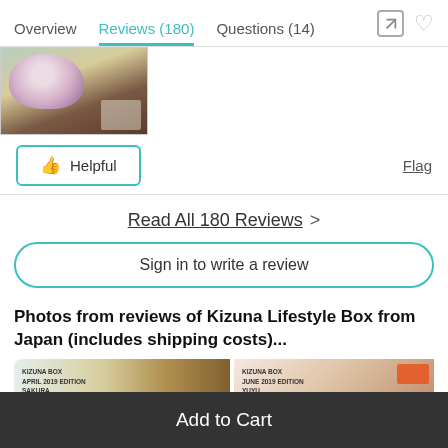Overview   Reviews (180)   Questions (14)
[Figure (photo): Product photo thumbnail showing a floral/gift box item on a wooden surface]
👍 Helpful
Flag
Read All 180 Reviews >
Sign in to write a review
Photos from reviews of Kizuna Lifestyle Box from Japan (includes shipping costs)...
[Figure (photo): KIZUNA BOX APRIL 2019 EDITION SAKURA THE CHERRY BLOSSOMS BOX — package photo]
[Figure (photo): KIZUNA BOX JUNE 2019 EDITION YUYU — package photo]
Add to Cart